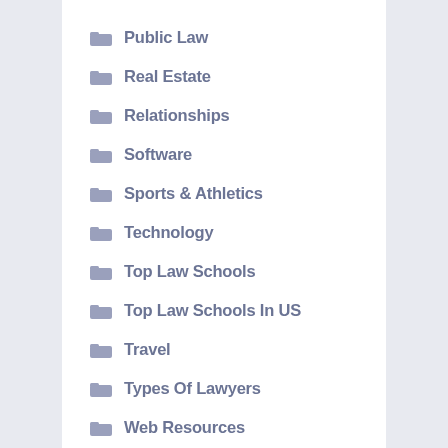Public Law
Real Estate
Relationships
Software
Sports & Athletics
Technology
Top Law Schools
Top Law Schools In US
Travel
Types Of Lawyers
Web Resources
What Is The Law